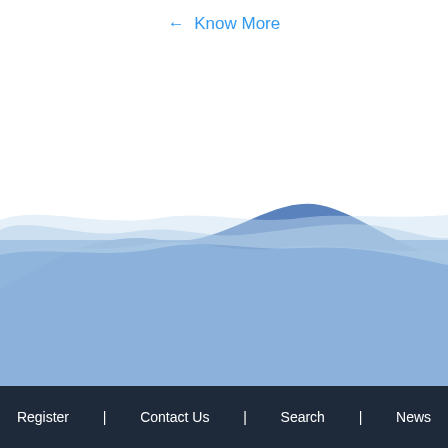← Know More
[Figure (illustration): Layered blue wave illustration with multiple translucent blue wave shapes overlapping, transitioning from light blue at the top to deeper blue at the bottom, with a misty mountain-like silhouette and cloudy atmosphere in the lower portion.]
Register | Contact Us | Search | News